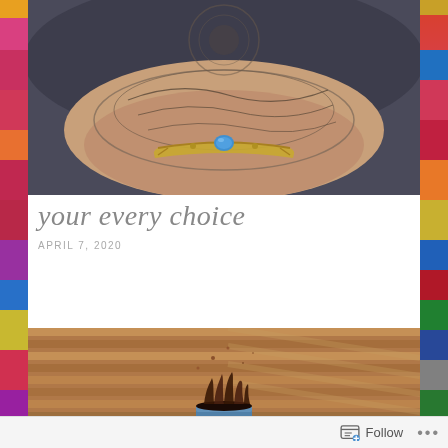[Figure (photo): Close-up photo of a tattooed hand/wrist wearing a decorative bracelet with a blue stone, against a dark background]
your every choice
APRIL 7, 2020
[Figure (photo): High-speed macro photo of a liquid drop splash (coffee or dark liquid) forming a crown shape on top of a blue cylindrical container, with diagonal shadow stripes in the background]
Follow